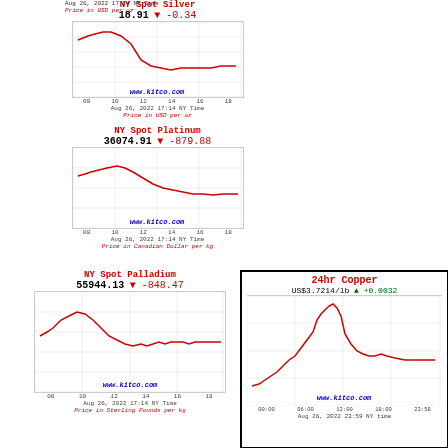[Figure (line-chart): NY Spot Silver line chart showing price ~18.91, change -0.34, Aug 26 2022 17:14 NY Time, Price in USD per oz]
[Figure (line-chart): NY Spot Platinum line chart showing price 36074.91, change -879.88, Aug 26 2022 17:14 NY Time, Price in Canadian Dollar per kg]
[Figure (line-chart): NY Spot Palladium line chart showing price 55944.13, change -848.47, Aug 26 2022 17:14 NY Time, Price in Sterling Pounds per kg]
[Figure (line-chart): 24hr Copper line chart showing US$3.7214/lb, change +0.0032, Aug 26 2022 23:59 NY time]